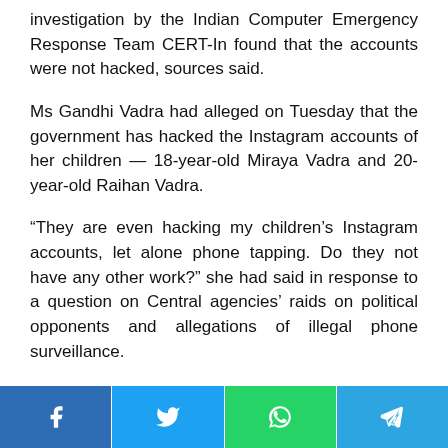investigation by the Indian Computer Emergency Response Team CERT-In found that the accounts were not hacked, sources said.
Ms Gandhi Vadra had alleged on Tuesday that the government has hacked the Instagram accounts of her children — 18-year-old Miraya Vadra and 20-year-old Raihan Vadra.
“They are even hacking my children’s Instagram accounts, let alone phone tapping. Do they not have any other work?” she had said in response to a question on Central agencies’ raids on political opponents and allegations of illegal phone surveillance.
[Figure (other): Social media share bar with four buttons: Facebook (blue), Twitter (light blue), WhatsApp (green), Telegram (blue)]